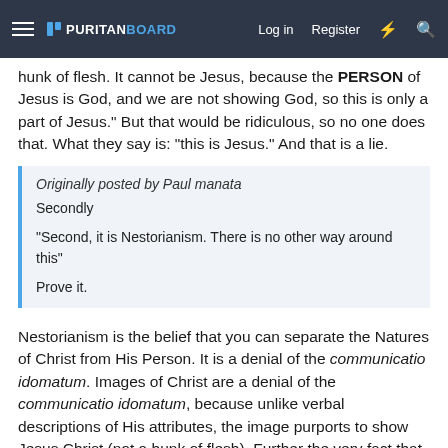Puritan Board — Log in | Register
hunk of flesh. It cannot be Jesus, because the PERSON of Jesus is God, and we are not showing God, so this is only a part of Jesus." But that would be ridiculous, so no one does that. What they say is: "this is Jesus." And that is a lie.
Originally posted by Paul manata
Secondly

"Second, it is Nestorianism. There is no other way around this"

Prove it.
Nestorianism is the belief that you can separate the Natures of Christ from His Person. It is a denial of the communicatio idomatum. Images of Christ are a denial of the communicatio idomatum, because unlike verbal descriptions of His attributes, the image purports to show Jesus Christ (not a hunk of flesh). Further the very fact that supporters of this position desire that